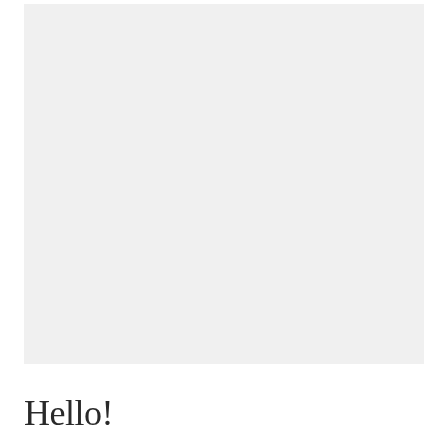[Figure (other): Large light gray rectangular image placeholder block]
Hello!